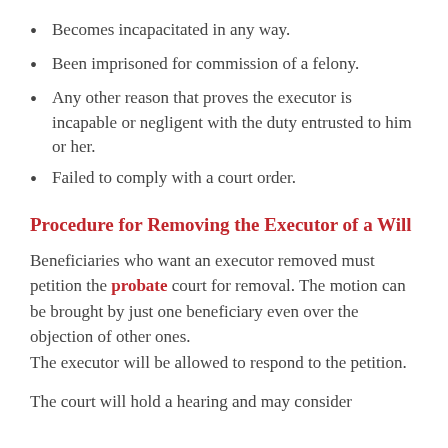Becomes incapacitated in any way.
Been imprisoned for commission of a felony.
Any other reason that proves the executor is incapable or negligent with the duty entrusted to him or her.
Failed to comply with a court order.
Procedure for Removing the Executor of a Will
Beneficiaries who want an executor removed must petition the probate court for removal. The motion can be brought by just one beneficiary even over the objection of other ones. The executor will be allowed to respond to the petition.
The court will hold a hearing and may consider…